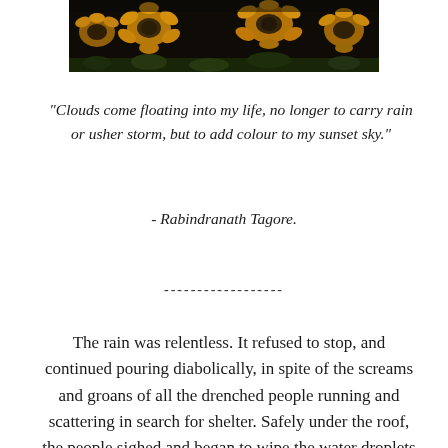[Figure (photo): Photograph of sunflowers with dark background, cropped to show tops of flowers]
"Clouds come floating into my life, no longer to carry rain or usher storm, but to add colour to my sunset sky."
- Rabindranath Tagore.
------------------
The rain was relentless. It refused to stop, and continued pouring diabolically, in spite of the screams and groans of all the drenched people running and scattering in search for shelter. Safely under the roof, the people sighed and began to wipe the water droplets off their skin. Nobody wanted to fall sick, nobody could afford to.